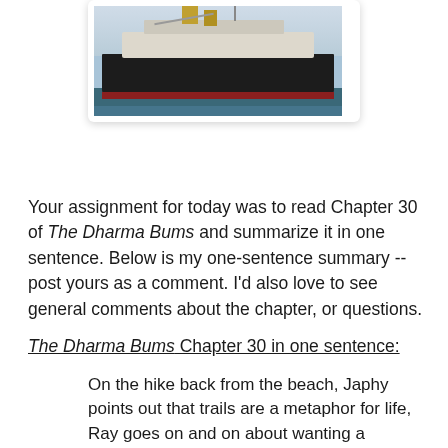[Figure (photo): A large ship or tanker docked at a port, photographed from the side, with water in the foreground and a hazy sky in the background.]
Your assignment for today was to read Chapter 30 of The Dharma Bums and summarize it in one sentence. Below is my one-sentence summary -- post yours as a comment. I'd also love to see general comments about the chapter, or questions.
The Dharma Bums Chapter 30 in one sentence:
On the hike back from the beach, Japhy points out that trails are a metaphor for life, Ray goes on and on about wanting a Hershey bar, they reach the shack, Japhy goes out for groceries and brings Ray a Hershey bar ("greatest Hershey bar I ever ate") and red port (it's their last night home together), Sean and family visit